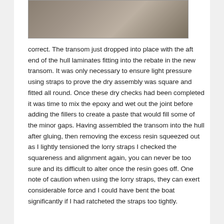[Figure (photo): Partial view of a boat transom being fitted, showing metal straps and boat structure on a workbench.]
correct. The transom just dropped into place with the aft end of the hull laminates fitting into the rebate in the new transom. It was only necessary to ensure light pressure using straps to prove the dry assembly was square and fitted all round. Once these dry checks had been completed it was time to mix the epoxy and wet out the joint before adding the fillers to create a paste that would fill some of the minor gaps. Having assembled the transom into the hull after gluing, then removing the excess resin squeezed out as I lightly tensioned the lorry straps I checked the squareness and alignment again, you can never be too sure and its difficult to alter once the resin goes off. One note of caution when using the lorry straps, they can exert considerable force and I could have bent the boat significantly if I had ratcheted the straps too tightly.